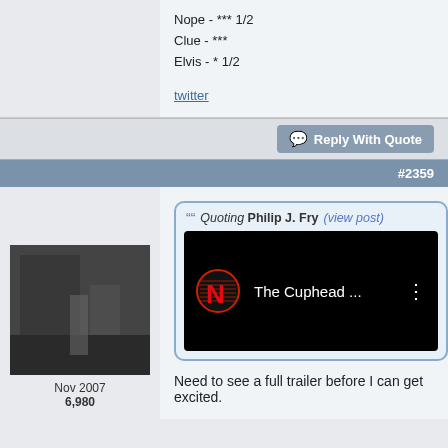Nope - *** 1/2
Clue - ***
Elvis - * 1/2
twitter
Reply With Quote
#2359
[Figure (screenshot): A quoted post containing a Netflix video thumbnail for 'The Cuphead ...' with the Netflix N logo on a black background and a three-dot menu icon]
Need to see a full trailer before I can get excited.
Nov 2007
6,980